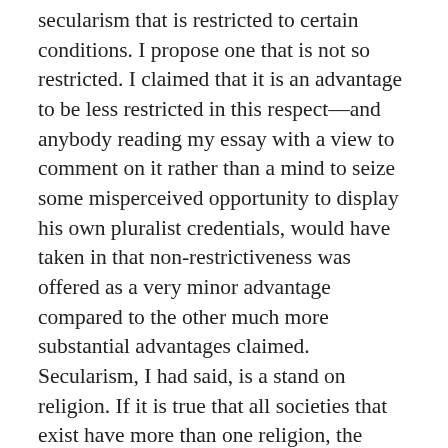secularism that is restricted to certain conditions. I propose one that is not so restricted. I claimed that it is an advantage to be less restricted in this respect—and anybody reading my essay with a view to comment on it rather than a mind to seize some misperceived opportunity to display his own pluralist credentials, would have taken in that non-restrictiveness was offered as a very minor advantage compared to the other much more substantial advantages claimed. Secularism, I had said, is a stand on religion. If it is true that all societies that exist have more than one religion, the unrestricted ideal is at no disadvantage whatsoever. If it should turn out that there is a society in which there is only one pervasive religion, the unrestricted ideal has application in a way that the restricted one does not. That is the marginal advantage I had claimed and nothing in the clichés presented in this essay about how there is a plurality